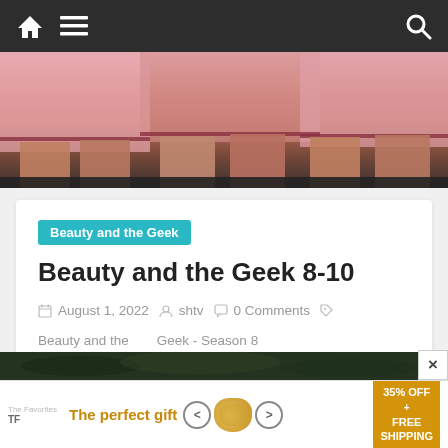Navigation bar with home, menu, and search icons
[Figure (photo): Partial view of people in pink outfits, cropped to show lower body area]
Beauty and the Geek
Beauty and the Geek 8-10
August 1, 2022  shtv  0 Comments  Beauty and the Geek - Season 8
On Super Makeover Monday, all the remaining geeks get a makeover with amazing results. Hosted by Sophie Monk.
Read more
[Figure (photo): Dark nature/foliage background strip]
[Figure (infographic): Advertisement banner: The perfect gift - 35% OFF + FREE SHIPPING with product carousel and navigation arrows]